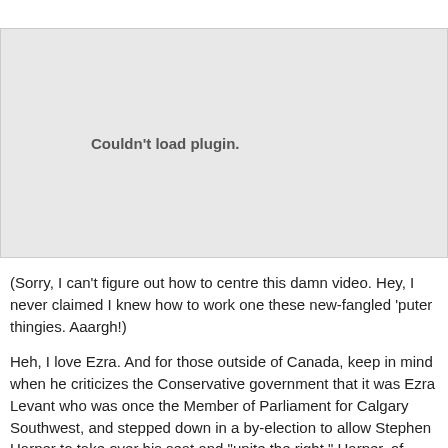[Figure (other): Embedded video plugin placeholder showing 'Couldn't load plugin.' error message on a grey background]
(Sorry, I can't figure out how to centre this damn video. Hey, I never claimed I knew how to work one these new-fangled 'puter thingies. Aaargh!)
Heh, I love Ezra. And for those outside of Canada, keep in mind when he criticizes the Conservative government that it was Ezra Levant who was once the Member of Parliament for Calgary Southwest, and stepped down in a by-election to allow Stephen Harper to take over his seat and "unite the right." Harper, of course, went on to become our Prime